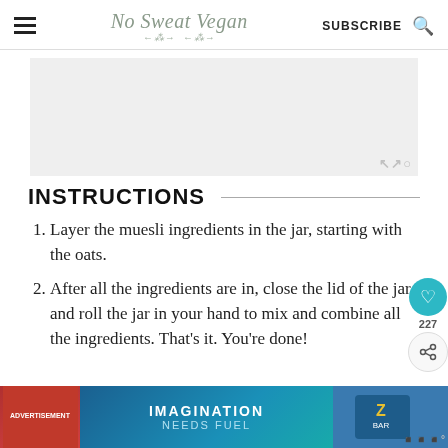No Sweat Vegan — SUBSCRIBE
[Figure (other): Advertisement placeholder area with light gray background and watermark symbol]
INSTRUCTIONS
Layer the muesli ingredients in the jar, starting with the oats.
After all the ingredients are in, close the lid of the jar and roll the jar in your hand to mix and combine all the ingredients. That's it. You're done!
[Figure (other): Bottom advertisement banner: child eating snack, Imagination Needs Fuel, ZBAR product]